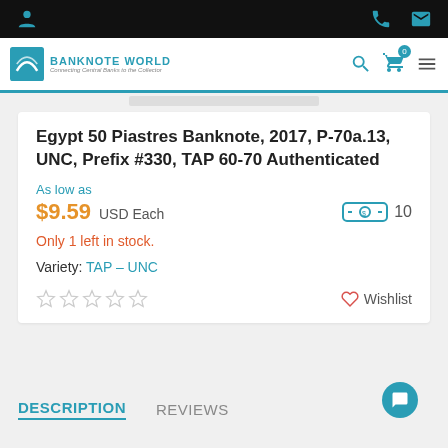Banknote World — Navigation bar with logo, search, cart (0), menu
Egypt 50 Piastres Banknote, 2017, P-70a.13, UNC, Prefix #330, TAP 60-70 Authenticated
As low as
$9.59 USD Each — 10
Only 1 left in stock.
Variety: TAP – UNC
Wishlist
DESCRIPTION
REVIEWS